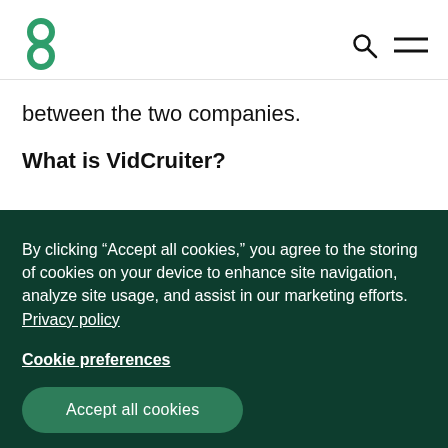[Greenhouse logo] [Search icon] [Menu icon]
between the two companies.
What is VidCruiter?
By clicking “Accept all cookies,” you agree to the storing of cookies on your device to enhance site navigation, analyze site usage, and assist in our marketing efforts. Privacy policy
Cookie preferences
Accept all cookies